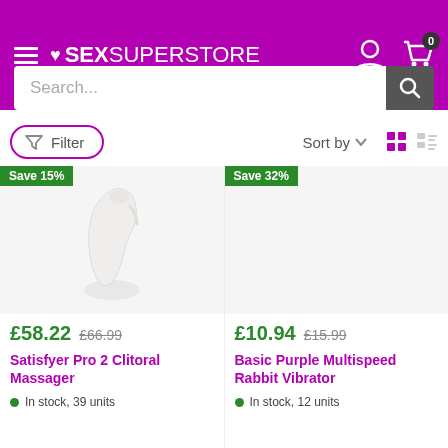♥ SEXSUPERSTORE
Search...
Filter  Sort by
[Figure (photo): Product image of Satisfyer Pro 2 Clitoral Massager - white/cream colored device on white background]
Save 15%
£58.22  £66.99
Satisfyer Pro 2 Clitoral Massager
In stock, 39 units
[Figure (photo): Product image area for Basic Purple Multispeed Rabbit Vibrator - empty/white background]
Save 32%
£10.94  £15.99
Basic Purple Multispeed Rabbit Vibrator
In stock, 12 units